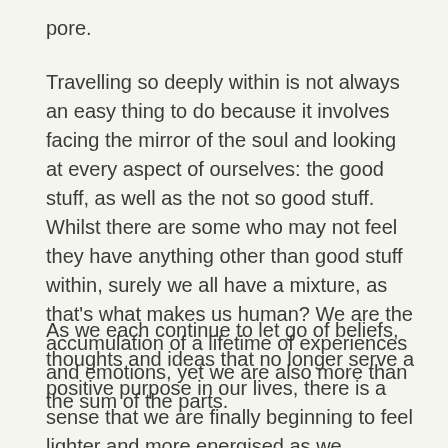pore.
Travelling so deeply within is not always an easy thing to do because it involves facing the mirror of the soul and looking at every aspect of ourselves: the good stuff, as well as the not so good stuff. Whilst there are some who may not feel they have anything other than good stuff within, surely we all have a mixture, as that's what makes us human? We are the accumulation of a lifetime of experiences and emotions, yet we are also more than the sum of the parts.
As we each continue to let go of beliefs, thoughts and ideas that no longer serve a positive purpose in our lives, there is a sense that we are finally beginning to feel lighter and more energised as we